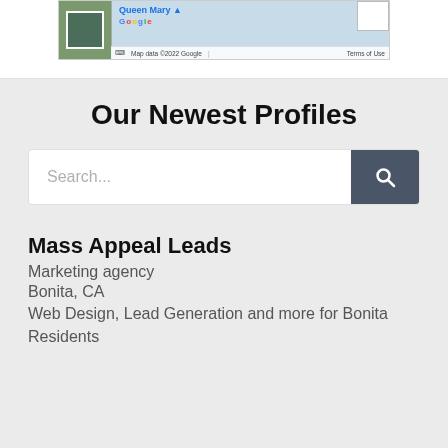[Figure (map): Google Maps partial view showing satellite thumbnail on left, 'Queen Mary' label in blue, Google logo, map data attribution '©2022 Google', 'Terms of Use' link, and a white box overlay on the right.]
Our Newest Profiles
Search...
Mass Appeal Leads
Marketing agency
Bonita, CA
Web Design, Lead Generation and more for Bonita Residents